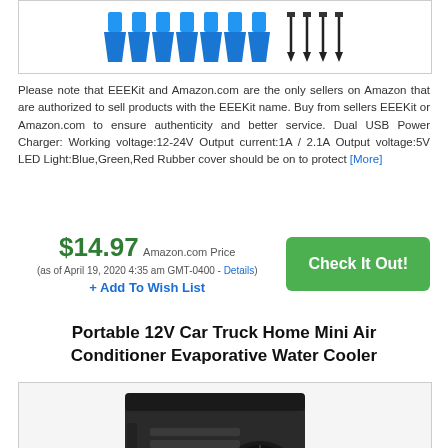[Figure (photo): Product accessories photo showing 7 blue wire connectors and 4 black screws on white background]
Please note that EEEKit and Amazon.com are the only sellers on Amazon that are authorized to sell products with the EEEKit name. Buy from sellers EEEKit or Amazon.com to ensure authenticity and better service. Dual USB Power Charger: Working voltage:12-24V Output current:1A / 2.1A Output voltage:5V LED Light:Blue,Green,Red Rubber cover should be on to protect [More]
$14.97 Amazon.com Price (as of April 19, 2020 4:35 am GMT-0400 - Details) + Add To Wish List
Portable 12V Car Truck Home Mini Air Conditioner Evaporative Water Cooler
[Figure (photo): Photo of a portable mini air conditioner evaporative water cooler device, black colored box with fan grill on the side]